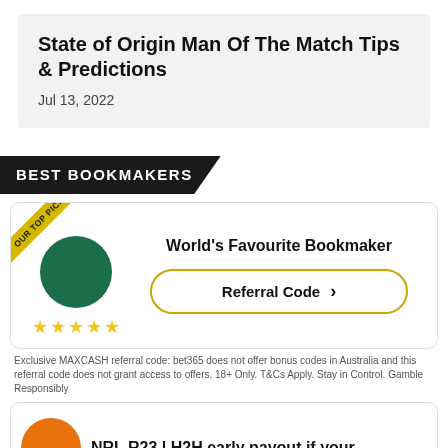State of Origin Man Of The Match Tips & Predictions
Jul 13, 2022
BEST BOOKMAKERS
[Figure (infographic): Bookmaker card: green circle logo with 'OUR TOP PICK' diagonal ribbon badge, five gold stars. Text: World's Favourite Bookmaker. Button: Referral Code with arrow.]
Exclusive MAXCASH referral code: bet365 does not offer bonus codes in Australia and this referral code does not grant access to offers. 18+ Only. T&Cs Apply. Stay in Control. Gamble Responsibly
[Figure (infographic): Bookmaker card: orange circle logo. Text: NRL R23 | H2H early payout if your]